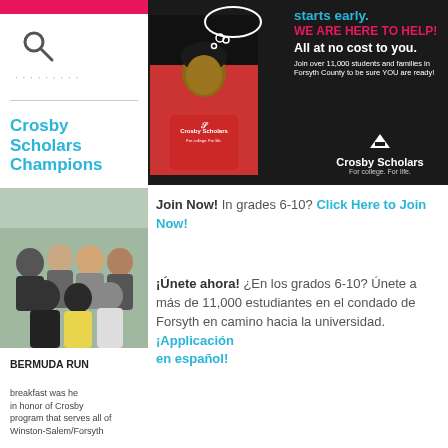[Figure (photo): Crosby Scholars advertisement with a boy in a red sweatshirt thinking about college, with text: 'starts early. WE ARE HERE TO HELP! All at no cost to you. Join over 11,000 students and families in Forsyth County to be sure YOU are ready!' and Crosby Scholars logo.]
Crosby Scholars Champions
[Figure (photo): Group photo of Crosby Scholars students outdoors on a deck/porch.]
BERMUDA RUN — A breakfast was held in honor of Crosby program that serves all of Winston-Salem/Forsyth
Join Now! In grades 6-10? Click Here to Join Now!
¡Únete ahora! ¿En los grados 6-10? Únete a más de 11,000 estudiantes en el condado de Forsyth en camino hacia la universidad. ¡Applicación en español!